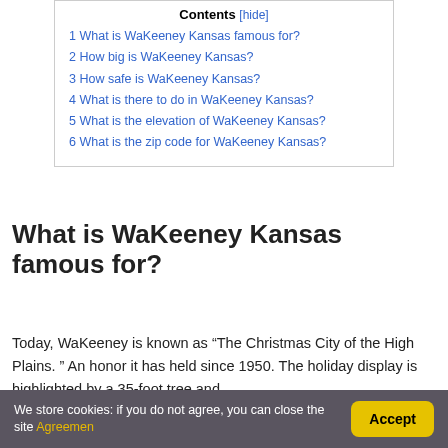1 What is WaKeeney Kansas famous for?
2 How big is WaKeeney Kansas?
3 How safe is WaKeeney Kansas?
4 What is there to do in WaKeeney Kansas?
5 What is the elevation of WaKeeney Kansas?
6 What is the zip code for WaKeeney Kansas?
What is WaKeeney Kansas famous for?
Today, WaKeeney is known as “The Christmas City of the High Plains. ” An honor it has held since 1950. The holiday display is highlighted by a 35-foot tree and
We store cookies: if you do not agree, you can close the site Agreemen